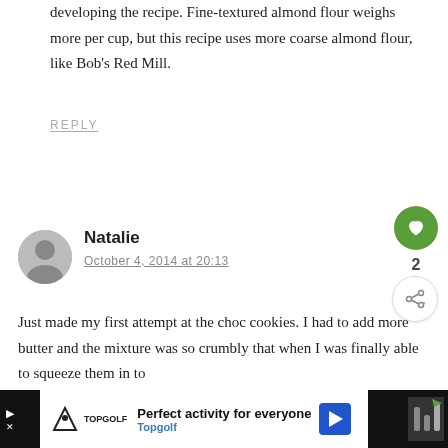developing the recipe. Fine-textured almond flour weighs more per cup, but this recipe uses more coarse almond flour, like Bob's Red Mill.
REPLY
Natalie
October 4, 2014 at 20:13
Just made my first attempt at the choc cookies. I had to add more butter and the mixture was so crumbly that when I was finally able to squeeze them in to
[Figure (other): Advertisement banner for Topgolf: 'Perfect activity for everyone' with Topgolf logo and navigation arrow icon]
2